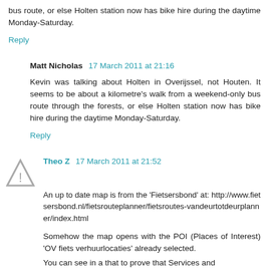bus route, or else Holten station now has bike hire during the daytime Monday-Saturday.
Reply
Matt Nicholas  17 March 2011 at 21:16
Kevin was talking about Holten in Overijssel, not Houten. It seems to be about a kilometre's walk from a weekend-only bus route through the forests, or else Holten station now has bike hire during the daytime Monday-Saturday.
Reply
Theo Z  17 March 2011 at 21:52
An up to date map is from the 'Fietsersbond' at: http://www.fietsersbond.nl/fietsrouteplanner/fietsroutes-vandeurtotdeurplanner/index.html
Somehow the map opens with the POI (Places of Interest) 'OV fiets verhuurlocaties' already selected.
You can see in a that to prove that Services and